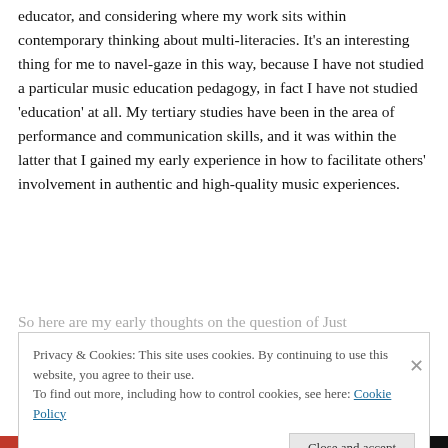educator, and considering where my work sits within contemporary thinking about multi-literacies. It's an interesting thing for me to navel-gaze in this way, because I have not studied a particular music education pedagogy, in fact I have not studied 'education' at all. My tertiary studies have been in the area of performance and communication skills, and it was within the latter that I gained my early experience in how to facilitate others' involvement in authentic and high-quality music experiences.
So here are my early thoughts on the question of Just
Privacy & Cookies: This site uses cookies. By continuing to use this website, you agree to their use.
To find out more, including how to control cookies, see here: Cookie Policy